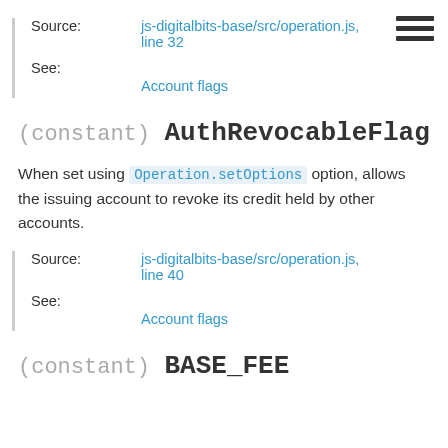| Label | Value |
| --- | --- |
| Source: | js-digitalbits-base/src/operation.js, line 32 |
| See: | Account flags |
(constant) AuthRevocableFlag
When set using Operation.setOptions option, allows the issuing account to revoke its credit held by other accounts.
| Label | Value |
| --- | --- |
| Source: | js-digitalbits-base/src/operation.js, line 40 |
| See: | Account flags |
(constant) BASE_FEE